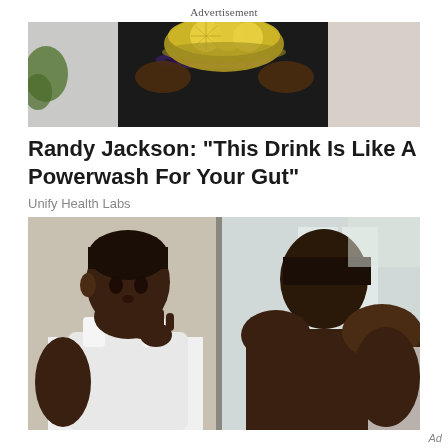Advertisement
[Figure (photo): Top portion of an advertisement image showing a person in a dark outfit holding a bowl of lemon slices]
Randy Jackson: "This Drink Is Like A Powerwash For Your Gut"
Unify Health Labs
[Figure (photo): A young Black man in a white tank top touching his face while looking in a mirror, shown from the front and back]
Ad